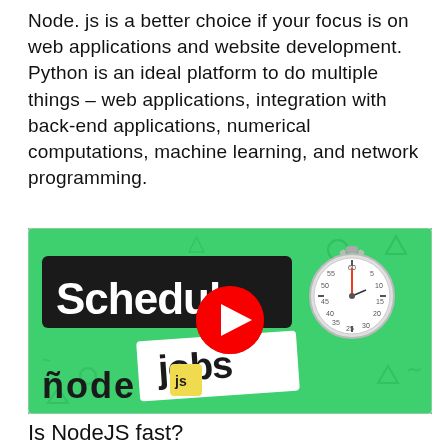Node. js is a better choice if your focus is on web applications and website development. Python is an ideal platform to do multiple things – web applications, integration with back-end applications, numerical computations, machine learning, and network programming.
[Figure (screenshot): YouTube video thumbnail showing 'Schedule jobs' text on a green background with a stopwatch image and Node.js logo, with a red play button in the center.]
Is NodeJS fast?